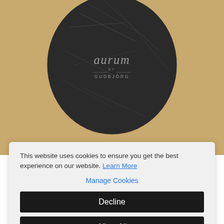[Figure (photo): A dark charcoal/black circular stone or disc with white scratched markings, featuring the 'aurum by GUDBJORG' logo in light gray text on its surface. The stone rests on a light wooden/tan surface background.]
This website uses cookies to ensure you get the best experience on our website. Learn More
Manage Cookies
Decline
Allow All
×